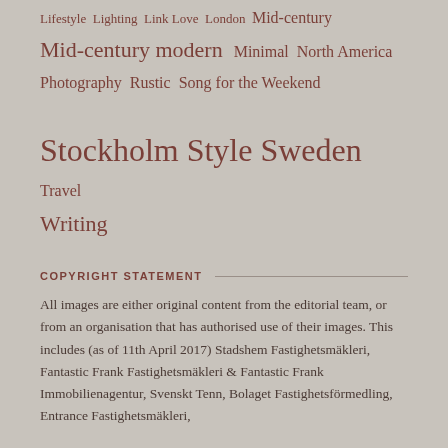Lifestyle Lighting Link Love London Mid-century Mid-century modern Minimal North America Photography Rustic Song for the Weekend Stockholm Style Sweden Travel Writing
COPYRIGHT STATEMENT
All images are either original content from the editorial team, or from an organisation that has authorised use of their images. This includes (as of 11th April 2017) Stadshem Fastighetsmäkleri, Fantastic Frank Fastighetsmäkleri & Fantastic Frank Immobilienagentur, Svenskt Tenn, Bolaget Fastighetsförmedling, Entrance Fastighetsmäkleri,